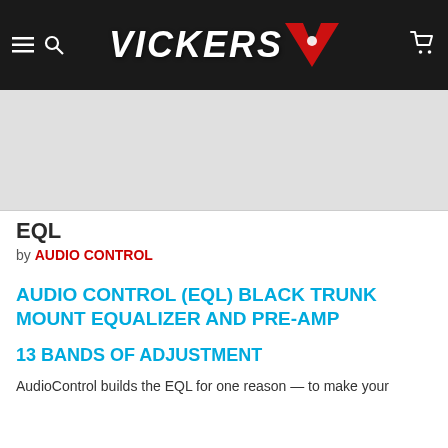VICKERS AV — navigation header with hamburger menu, search icon, logo, and cart icon
[Figure (photo): Product image area — light gray placeholder/image area for the EQL product]
EQL
by AUDIO CONTROL
AUDIO CONTROL (EQL) BLACK TRUNK MOUNT EQUALIZER AND PRE-AMP
13 BANDS OF ADJUSTMENT
AudioControl builds the EQL for one reason — to make your